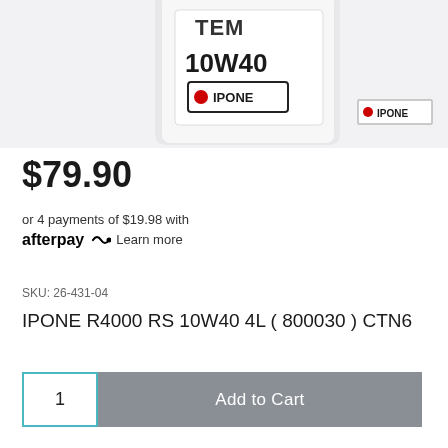[Figure (photo): IPONE R4000 RS 10W40 4L motor oil container, white rectangular jug with IPONE branding and logo, partially cropped at top. Small IPONE badge visible in lower right corner.]
$79.90
or 4 payments of $19.98 with afterpay Learn more
SKU: 26-431-04
IPONE R4000 RS 10W40 4L ( 800030 ) CTN6
1
Add to Cart